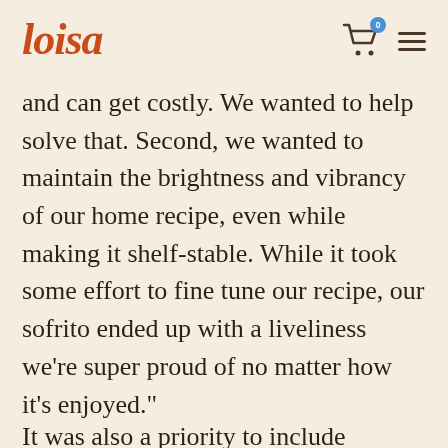Loisa
and can get costly. We wanted to help solve that. Second, we wanted to maintain the brightness and vibrancy of our home recipe, even while making it shelf-stable. While it took some effort to fine tune our recipe, our sofrito ended up with a liveliness we’re super proud of no matter how it’s enjoyed.”
It was also a priority to include important